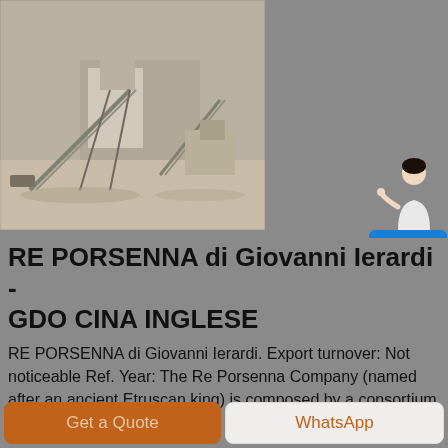[Figure (photo): Industrial mining/quarrying machinery with conveyor belts and processing equipment on sandy/dusty terrain]
[Figure (illustration): Free chat widget with female avatar and blue button labeled 'Free chat']
RE PORSENNA di Giovanni Ierardi - GDO CINA INGLESE
RE PORSENNA di Giovanni Ierardi. Export turnover: Not noticeable Ref. Year: The Re Porsenna Company (named after an ancient Etruscan king) is composed by a consortium